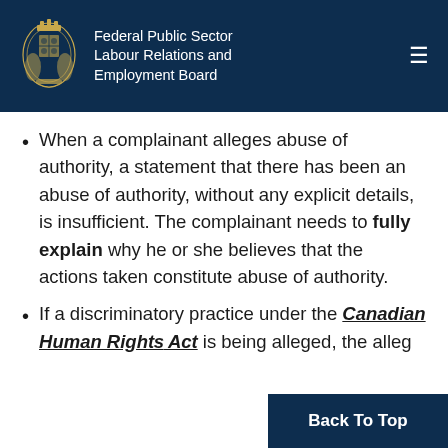Federal Public Sector Labour Relations and Employment Board
When a complainant alleges abuse of authority, a statement that there has been an abuse of authority, without any explicit details, is insufficient. The complainant needs to fully explain why he or she believes that the actions taken constitute abuse of authority.
If a discriminatory practice under the Canadian Human Rights Act is being alleged, the alleg...